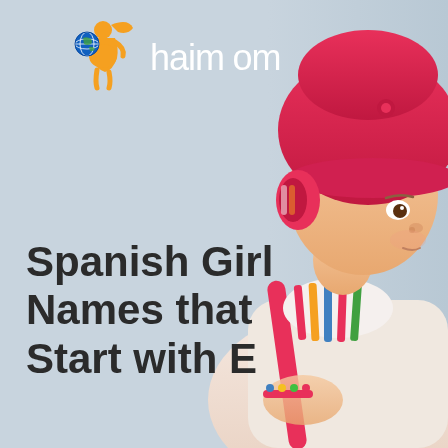[Figure (logo): Haimbom logo with orange pregnant woman silhouette icon and globe, white text reading 'haimbom']
[Figure (photo): Baby girl wearing a pink hat and striped outfit, looking sideways, on a light blue-gray background]
Spanish Girl Names that Start with E